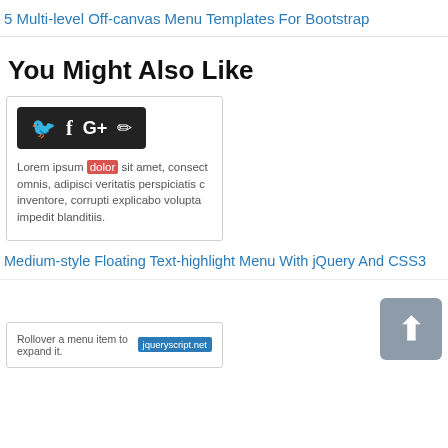5 Multi-level Off-canvas Menu Templates For Bootstrap
You Might Also Like
[Figure (screenshot): Screenshot of a Medium-style floating text-highlight menu showing social share icons (Twitter, Facebook, Google+, Edit) in a dark popup tooltip, with Lorem ipsum text below including 'dolor' highlighted in red.]
Medium-style Floating Text-highlight Menu With jQuery And CSS3
[Figure (screenshot): Screenshot of a menu item expansion interface with text 'Rollover a menu item to expand it' and a blue tag label 'jqueryscript.net']